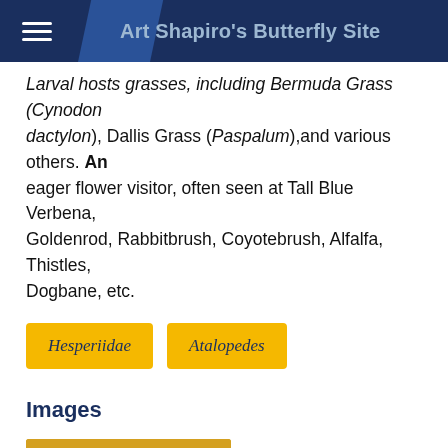Art Shapiro's Butterfly Site
Larval hosts grasses, including Bermuda Grass (Cynodon dactylon), Dallis Grass (Paspalum),and various others. An eager flower visitor, often seen at Tall Blue Verbena, Goldenrod, Rabbitbrush, Coyotebrush, Alfalfa, Thistles, Dogbane, etc.
Hesperiidae
Atalopedes
Images
[Figure (photo): Close-up photo of a butterfly (skipper) on yellow flowers, brown/orange wings visible]
Photo Credit:
Apodemia